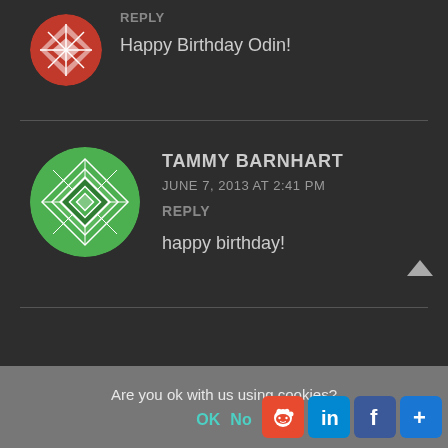[Figure (illustration): Partial red/white patterned circular avatar at top left, cropped]
REPLY
Happy Birthday Odin!
[Figure (illustration): Green and grey geometric patterned circular avatar for Tammy Barnhart]
TAMMY BARNHART
JUNE 7, 2013 AT 2:41 PM
REPLY
happy birthday!
Are you ok with us using cookies?
OK   No